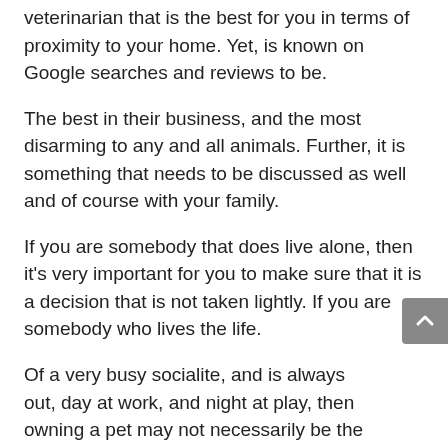veterinarian that is the best for you in terms of proximity to your home. Yet, is known on Google searches and reviews to be.
The best in their business, and the most disarming to any and all animals. Further, it is something that needs to be discussed as well and of course with your family.
If you are somebody that does live alone, then it's very important for you to make sure that it is a decision that is not taken lightly. If you are somebody who lives the life.
Of a very busy socialite, and is always out, day at work, and night at play, then owning a pet may not necessarily be the right decision for you. However, pets can be the period
Best distraction, and a deterrent from the monotony and depression of life. In fact, during the pandemic